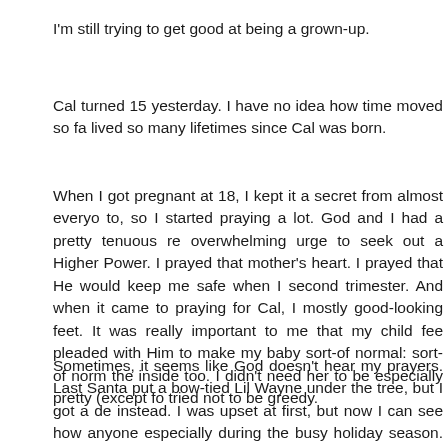I'm still trying to get good at being a grown-up.
Cal turned 15 yesterday. I have no idea how time moved so fa... lived so many lifetimes since Cal was born.
When I got pregnant at 18, I kept it a secret from almost everyo... to, so I started praying a lot. God and I had a pretty tenuous re... overwhelming urge to seek out a Higher Power. I prayed that ... mother's heart. I prayed that He would keep me safe when I ... second trimester. And when it came to praying for Cal, I mostly ... good-looking feet. It was really important to me that my child fee... pleaded with Him to make my baby sort-of normal: sort-of norm... the inside too. I didn't need her to be especially pretty (except fo... tried not to be greedy.
Sometimes, it seems like God doesn't hear my prayers. Last ... Santa put a bow-tied Lil Wayne under the tree, but I got a de... instead. I was upset at first, but now I can see how anyone ... especially during the busy holiday season. I'm still not sure what